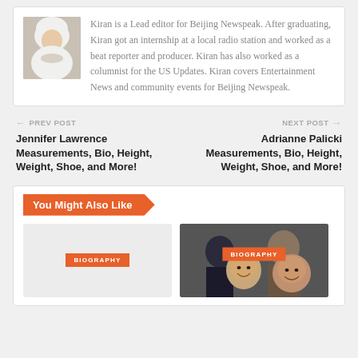[Figure (photo): Author photo: woman wearing white hijab]
Kiran is a Lead editor for Beijing Newspeak. After graduating, Kiran got an internship at a local radio station and worked as a beat reporter and producer. Kiran has also worked as a columnist for the US Updates. Kiran covers Entertainment News and community events for Beijing Newspeak.
← PREV POST
Jennifer Lawrence Measurements, Bio, Height, Weight, Shoe, and More!
NEXT POST →
Adrianne Palicki Measurements, Bio, Height, Weight, Shoe, and More!
You Might Also Like
[Figure (photo): Biography card placeholder with orange BIOGRAPHY label]
[Figure (photo): Biography card with group photo and orange BIOGRAPHY label]